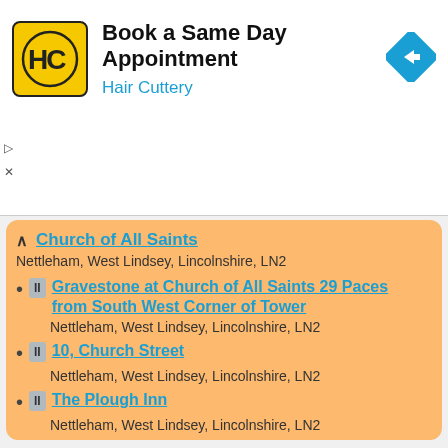[Figure (screenshot): Advertisement banner for Hair Cuttery - Book a Same Day Appointment]
Church of All Saints
Nettleham, West Lindsey, Lincolnshire, LN2
II  Gravestone at Church of All Saints 29 Paces from South West Corner of Tower
Nettleham, West Lindsey, Lincolnshire, LN2
II  10, Church Street
Nettleham, West Lindsey, Lincolnshire, LN2
II  The Plough Inn
Nettleham, West Lindsey, Lincolnshire, LN2
II  2, the Green
Nettleham, West Lindsey, Lincolnshire, LN2